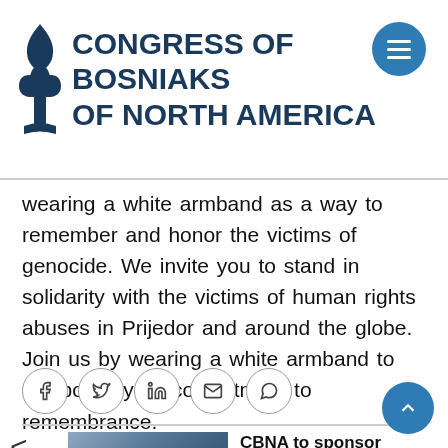CONGRESS OF BOSNIAKS OF NORTH AMERICA
wearing a white armband as a way to remember and honor the victims of genocide. We invite you to stand in solidarity with the victims of human rights abuses in Prijedor and around the globe. Join us by wearing a white armband to symbolize your commitment to remembrance.
[Figure (other): Social share buttons: Facebook, Twitter, LinkedIn, Email, WhatsApp]
[Figure (photo): Thumbnail photo of a highway/city scene in Saint Louis]
CBNA to sponsor highway 64 in Saint Louis